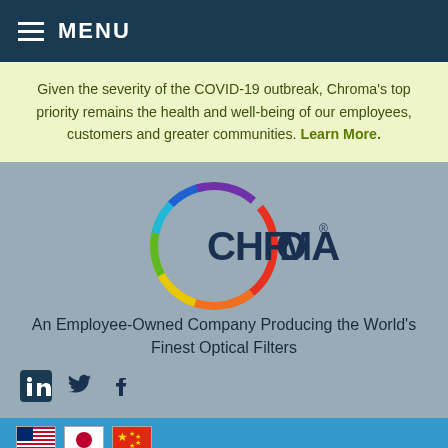≡ MENU
Given the severity of the COVID-19 outbreak, Chroma's top priority remains the health and well-being of our employees, customers and greater communities. Learn More.
[Figure (logo): Chroma logo with rainbow oval and dark blue CHROMA® wordmark]
An Employee-Owned Company Producing the World's Finest Optical Filters
[Figure (infographic): Social media icons: LinkedIn, Twitter, Facebook]
[Figure (infographic): Flag icons for USA, Japan, China; scrollbar; Browse by Fluorochrome button; Show Compare overlay button]